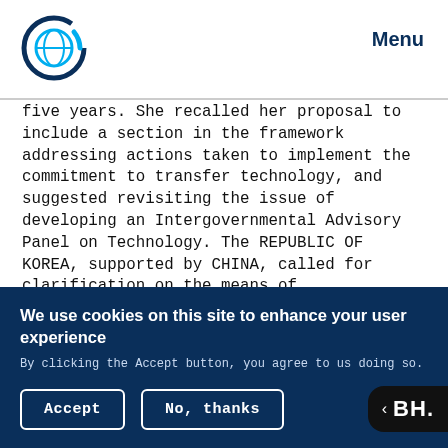Menu
five years. She recalled her proposal to include a section in the framework addressing actions taken to implement the commitment to transfer technology, and suggested revisiting the issue of developing an Intergovernmental Advisory Panel on Technology. The REPUBLIC OF KOREA, supported by CHINA, called for clarification on the means of implementation of FCCC Article 4.5, and on the responsibility and conditions for implementation.
We use cookies on this site to enhance your user experience
By clicking the Accept button, you agree to us doing so.